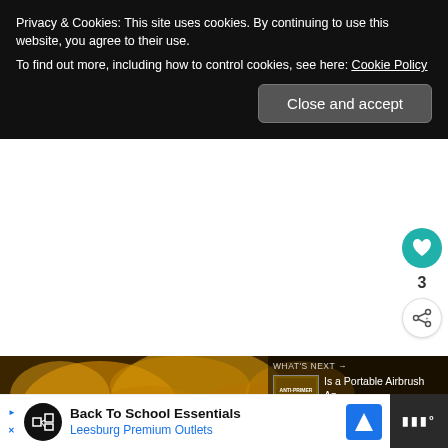Privacy & Cookies: This site uses cookies. By continuing to use this website, you agree to their use.
To find out more, including how to control cookies, see here: Cookie Policy
Close and accept
3
[Figure (photo): Miniature Warhammer-style figures painted in yellow/gold tones, densely packed together]
WHAT'S NEXT → Is a Portable Airbrush An...
Back To School Essentials Leesburg Premium Outlets